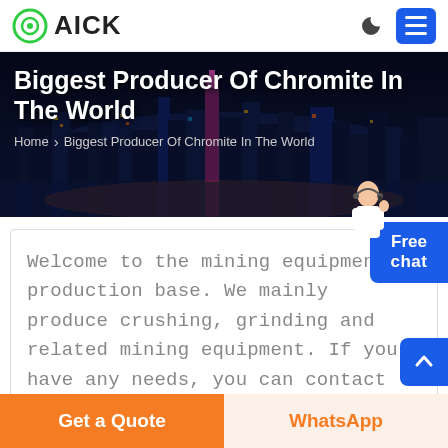AICK
[Figure (photo): Hero banner showing a city skyline at night with colorful lights and tall buildings, overlaid with bold white text reading 'Biggest Producer Of Chromite In The World' and breadcrumb navigation 'Home > Biggest Producer Of Chromite In The World']
Biggest Producer Of Chromite In The World
Home > Biggest Producer Of Chromite In The World
Welcome to the mining equipment production base. We mainly produce crushing, grinding and related mining equipment. If you have any needs, you can contact our online customer service or